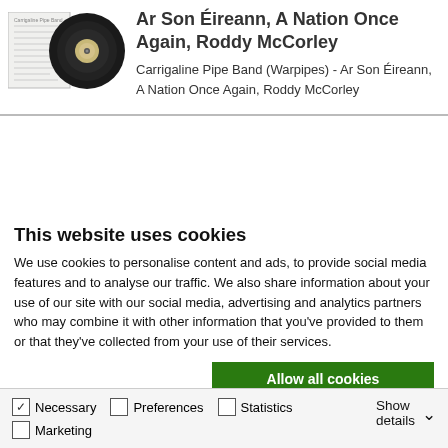[Figure (photo): Vinyl record product image showing a 7-inch single alongside a paper liner/sleeve with text]
Ar Son Éireann, A Nation Once Again, Roddy McCorley
Carrigaline Pipe Band (Warpipes) - Ar Son Éireann, A Nation Once Again, Roddy McCorley
This website uses cookies
We use cookies to personalise content and ads, to provide social media features and to analyse our traffic. We also share information about your use of our site with our social media, advertising and analytics partners who may combine it with other information that you've provided to them or that they've collected from your use of their services.
Allow all cookies
Allow selection
Use necessary cookies only
Necessary  Preferences  Statistics  Marketing  Show details